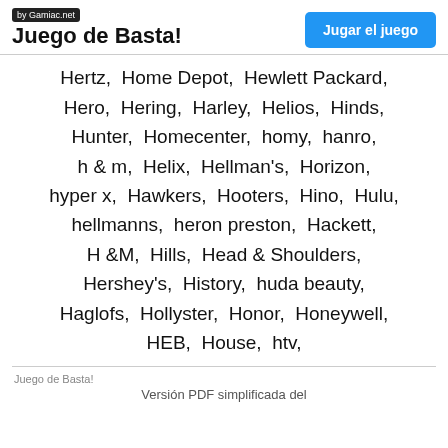by Gamiac.net | Juego de Basta! | Jugar el juego
Hertz, Home Depot, Hewlett Packard, Hero, Hering, Harley, Helios, Hinds, Hunter, Homecenter, homy, hanro, h & m, Helix, Hellman's, Horizon, hyper x, Hawkers, Hooters, Hino, Hulu, hellmanns, heron preston, Hackett, H &M, Hills, Head & Shoulders, Hershey's, History, huda beauty, Haglofs, Hollyster, Honor, Honeywell, HEB, House, htv,
Juego de Basta!
Versión PDF simplificada del